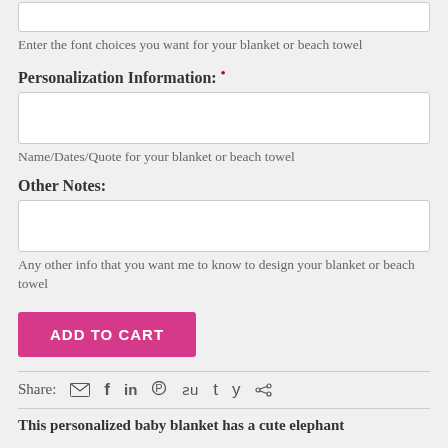Enter the font choices you want for your blanket or beach towel
Personalization Information: *
[Figure (other): Text input box for personalization information]
Name/Dates/Quote for your blanket or beach towel
Other Notes:
[Figure (other): Text input box for other notes]
Any other info that you want me to know to design your blanket or beach towel
[Figure (other): ADD TO CART button]
Share:
This personalized baby blanket has a cute elephant